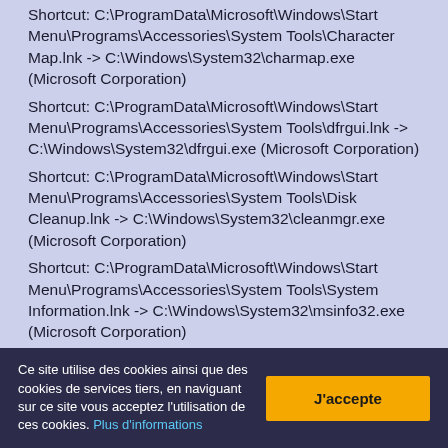Shortcut: C:\ProgramData\Microsoft\Windows\Start Menu\Programs\Accessories\System Tools\Character Map.lnk -> C:\Windows\System32\charmap.exe (Microsoft Corporation) Shortcut: C:\ProgramData\Microsoft\Windows\Start Menu\Programs\Accessories\System Tools\dfrgui.lnk -> C:\Windows\System32\dfrgui.exe (Microsoft Corporation) Shortcut: C:\ProgramData\Microsoft\Windows\Start Menu\Programs\Accessories\System Tools\Disk Cleanup.lnk -> C:\Windows\System32\cleanmgr.exe (Microsoft Corporation) Shortcut: C:\ProgramData\Microsoft\Windows\Start Menu\Programs\Accessories\System Tools\System Information.lnk -> C:\Windows\System32\msinfo32.exe (Microsoft Corporation) Shortcut: C:\ProgramData\Microsoft\Windows\Start Menu\Programs\Accessories\System Tools\System Restore.lnk -> C:\Windows\System32\rstrui.exe (Microsoft Corporation) Shortcut: C:\ProgramData\Microsoft\Windows\Start Menu\Programs\Accessories\System Tools\Windows Easy Transfer Reports.lnk -> C:\Windows\System32\migwiz\PostMig.exe (Microsoft
Ce site utilise des cookies ainsi que des cookies de services tiers, en naviguant sur ce site vous acceptez l'utilisation de ces cookies. Plus d'informations
J'accepte